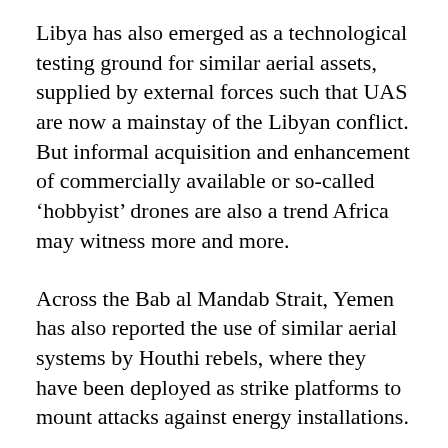Libya has also emerged as a technological testing ground for similar aerial assets, supplied by external forces such that UAS are now a mainstay of the Libyan conflict. But informal acquisition and enhancement of commercially available or so-called 'hobbyist' drones are also a trend Africa may witness more and more.
Across the Bab al Mandab Strait, Yemen has also reported the use of similar aerial systems by Houthi rebels, where they have been deployed as strike platforms to mount attacks against energy installations.
The use of UAS represents a new iteration of digital technology. The rapid rollout of mobile- and smartphone technology has seen militants in remote settings such as the deserts of Mali detonate IEDs using mobile phones, where in the past they would have relied on trip wires. Smartphone applications used to pilot drones present…